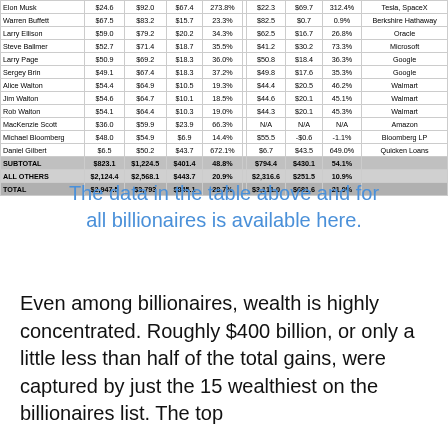| Name | Mar 18 2020 | Aug 11 2021 | $ Change | % Change |  | Mar 18 2020 | $ Change | % Change | Company |
| --- | --- | --- | --- | --- | --- | --- | --- | --- | --- |
| Elon Musk | $24.6 | $92.0 | $67.4 | 273.8% |  | $22.3 | $69.7 | 312.4% | Tesla, SpaceX |
| Warren Buffett | $67.5 | $83.2 | $15.7 | 23.3% |  | $82.5 | $0.7 | 0.9% | Berkshire Hathaway |
| Larry Ellison | $59.0 | $79.2 | $20.2 | 34.3% |  | $62.5 | $16.7 | 26.8% | Oracle |
| Steve Ballmer | $52.7 | $71.4 | $18.7 | 35.5% |  | $41.2 | $30.2 | 73.3% | Microsoft |
| Larry Page | $50.9 | $69.2 | $18.3 | 36.0% |  | $50.8 | $18.4 | 36.3% | Google |
| Sergey Brin | $49.1 | $67.4 | $18.3 | 37.2% |  | $49.8 | $17.6 | 35.3% | Google |
| Alice Walton | $54.4 | $64.9 | $10.5 | 19.3% |  | $44.4 | $20.5 | 46.2% | Walmart |
| Jim Walton | $54.6 | $64.7 | $10.1 | 18.5% |  | $44.6 | $20.1 | 45.1% | Walmart |
| Rob Walton | $54.1 | $64.4 | $10.3 | 19.0% |  | $44.3 | $20.1 | 45.3% | Walmart |
| MacKenzie Scott | $36.0 | $59.9 | $23.9 | 66.3% |  | N/A | N/A | N/A | Amazon |
| Michael Bloomberg | $48.0 | $54.9 | $6.9 | 14.4% |  | $55.5 | -$0.6 | -1.1% | Bloomberg LP |
| Daniel Gilbert | $6.5 | $50.2 | $43.7 | 672.1% |  | $6.7 | $43.5 | 649.0% | Quicken Loans |
| SUBTOTAL | $823.1 | $1,224.5 | $401.4 | 48.8% |  | $794.4 | $430.1 | 54.1% |  |
| ALL OTHERS | $2,124.4 | $2,568.1 | $443.7 | 20.9% |  | $2,316.6 | $251.5 | 10.9% |  |
| TOTAL | $2,947.5 | $3,793 | $845.1 | 28.7% |  | $3,111.0 | $681.6 | 21.9% |  |
The data in the table above and for all billionaires is available here.
Even among billionaires, wealth is highly concentrated. Roughly $400 billion, or only a little less than half of the total gains, were captured by just the 15 wealthiest on the billionaires list. The top